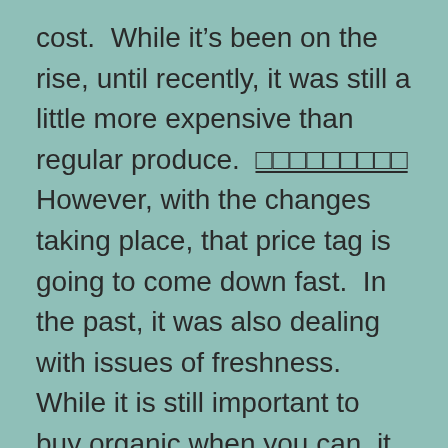cost.  While it's been on the rise, until recently, it was still a little more expensive than regular produce.  □□□□□□□□□ However, with the changes taking place, that price tag is going to come down fast.  In the past, it was also dealing with issues of freshness.  While it is still important to buy organic when you can, it is also important to buy in season and freeze what you don't use as often.  This will help you to save money as you will only have to buy what you need when it is in season and available.
Of course, everyone is going to want to know about organic food because the economy can't